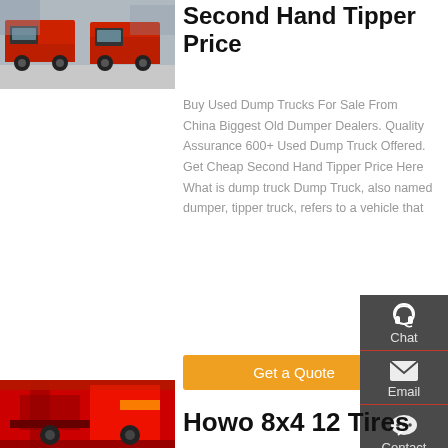[Figure (photo): Red and grey dump trucks parked in a lot, viewed from front-left angle]
Second Hand Tipper Price
Buy Used Dump Trucks For Sale From China Biggest Old Dumper Dealers. Quality Assurance 600+ Used Dump Truck Offered. Get Cheap Second Hand Tipper Price Here What is dump truck Dump Truck, also named dumper, tipper truck, refers to a vehicle that
Get a Quote
[Figure (photo): Red heavy truck machinery, close-up of red components]
Howo 8x4 12 Tires